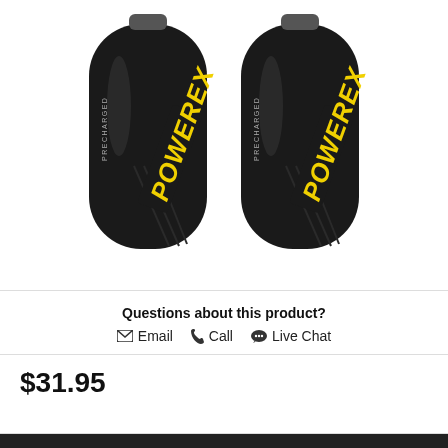[Figure (photo): Two black Powerex rechargeable batteries (D-cell size) with yellow logo text reading POWEREX and PRECHARGED on each battery, standing upright side by side on a white background.]
Questions about this product?
✉ Email  📞 Call  💬 Live Chat
$31.95